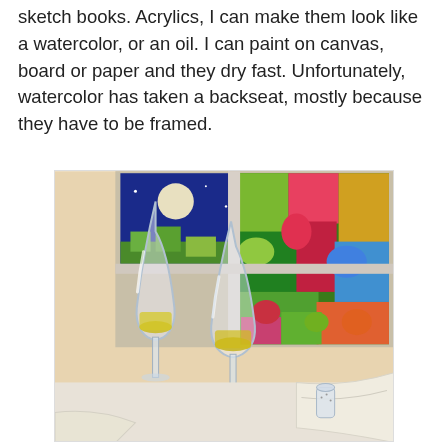sketch books. Acrylics, I can make them look like a watercolor, or an oil. I can paint on canvas, board or paper and they dry fast. Unfortunately, watercolor has taken a backseat, mostly because they have to be framed.
[Figure (illustration): A colorful acrylic painting depicting two wine glasses with white wine on a table, in front of a window with a vibrant garden visible outside. A white napkin and a small salt shaker are also visible on the table.]